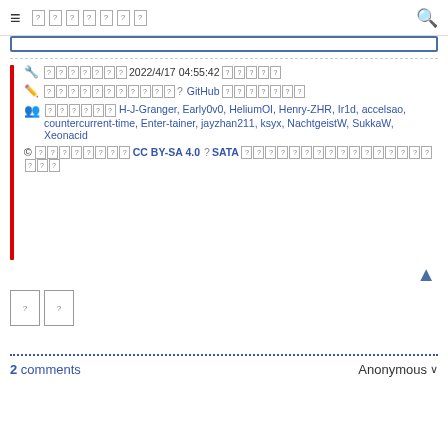≡ [logo boxes] 🔍
🔧 [?][?][?][?][?][?][?] 2022/4/17 04:55:42 [?][?][?][?][?]
✏ [?][?][?][?][?][?][?][?][?][?][?] ? GitHub [?][?][?][?][?][?][?]
👥 [?][?][?][?][?][?] H-J-Granger, Early0v0, HeliumOI, Henry-ZHR, Ir1d, accelsao, countercurrent-time, Enter-tainer, jayzhan211, ksyx, NachtgeistW, SukkaW, Xeonacid
© [?][?][?][?][?][?][?][?] CC BY-SA 4.0 ? SATA [?][?][?][?][?][?][?][?][?][?] [?][?][?][?][?][?][?][?][?]
[Figure (other): Two bordered boxes with question mark characters]
2 comments   Anonymous ∨